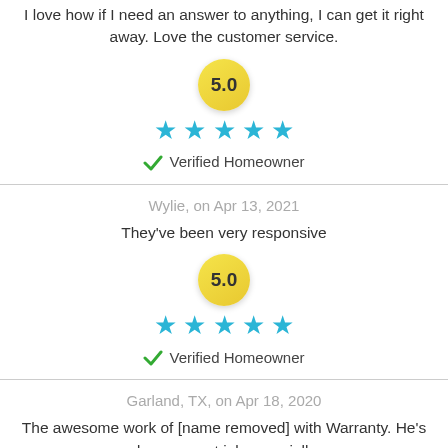I love how if I need an answer to anything, I can get it right away. Love the customer service.
[Figure (other): 5.0 star rating badge with 5 teal stars]
✔ Verified Homeowner
Wylie, on Apr 13, 2021
They've been very responsive
[Figure (other): 5.0 star rating badge with 5 teal stars]
✔ Verified Homeowner
Garland, TX, on Apr 18, 2020
The awesome work of [name removed] with Warranty. He's done a great job especially